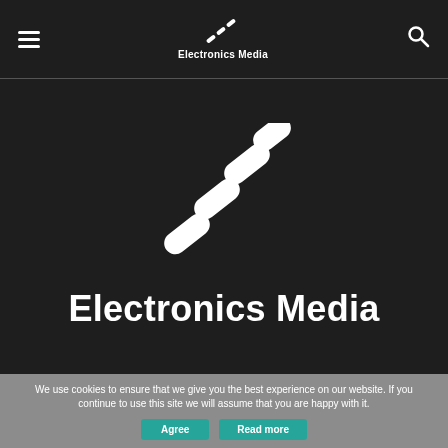Electronics Media
[Figure (logo): Electronics Media logo — four diagonal rounded white bars arranged in a staggered diagonal pattern, with 'Electronics Media' text below in bold white]
We use cookies to ensure that we give you the best experience on our website. If you continue to use this site we will assume that you are happy with it.
Agree   Read more